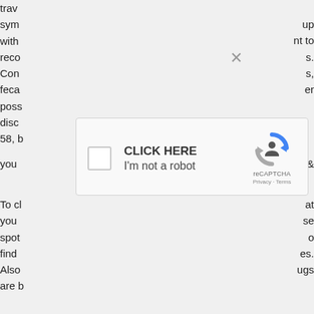trav
sym… …up
with… …nt to
reco… …s.
Con… …s,
feca… …er
poss…
disc…
58, …
you… …ash &
[Figure (screenshot): reCAPTCHA widget with checkbox, 'CLICK HERE' text, 'I'm not a robot' label, reCAPTCHA logo, Privacy and Terms links]
To c… …at
you… …se
spot… …o
find… …es.
Also… …ugs
are …

the… …I ha